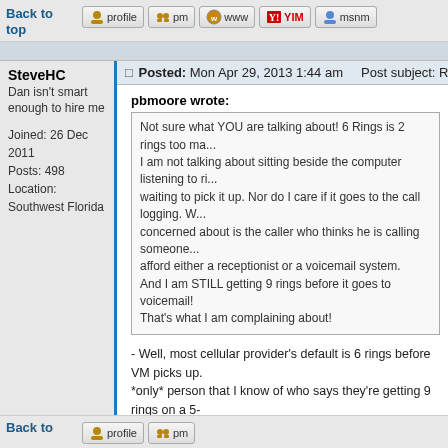Back to top
profile  pm  www  YIM  msnm
SteveHC
Dan isn't smart enough to hire me

Joined: 26 Dec 2011
Posts: 498
Location: Southwest Florida
Posted: Mon Apr 29, 2013 1:44 am    Post subject: Re: Voicemail
pbmoore wrote:
Not sure what YOU are talking about! 6 Rings is 2 rings too ma... I am not talking about sitting beside the computer listening to ri... waiting to pick it up. Nor do I care if it goes to the call logging. W... concerned about is the caller who thinks he is calling someone... afford either a receptionist or a voicemail system. And I am STILL getting 9 rings before it goes to voicemail! That's what I am complaining about!
- Well, most cellular provider's default is 6 rings before VM picks up. *only* person that I know of who says they're getting 9 rings on a 5- setting - which leads me to believe that MJ may need to "reset" your for you. I suggest that you start a live help chat with them to see if th for you, because you are *not* supposed to be experiencing 9 rings delay setting (on such a setting you're supposed to get only one ring Pretty much everybody else has found that 25 secs=6 rings, and ma actually had to set it to 30 secs to get 6 rings.
Back to